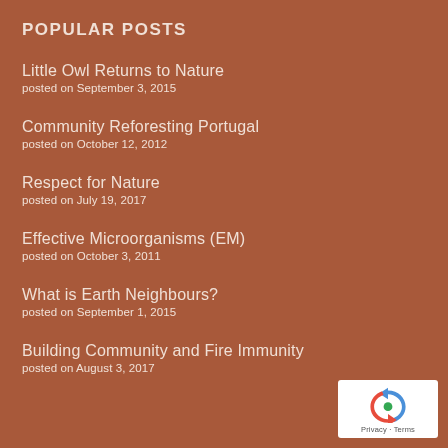POPULAR POSTS
Little Owl Returns to Nature
posted on September 3, 2015
Community Reforesting Portugal
posted on October 12, 2012
Respect for Nature
posted on July 19, 2017
Effective Microorganisms (EM)
posted on October 3, 2011
What is Earth Neighbours?
posted on September 1, 2015
Building Community and Fire Immunity
posted on August 3, 2017
[Figure (logo): Google reCAPTCHA badge with Privacy and Terms text]